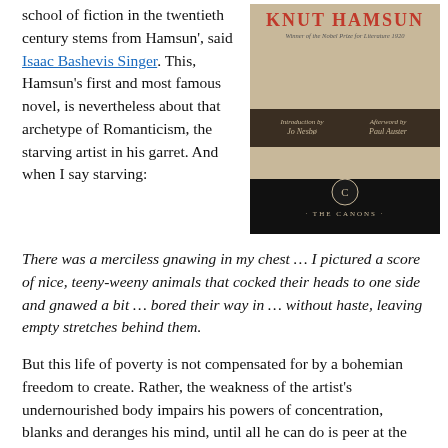school of fiction in the twentieth century stems from Hamsun', said Isaac Bashevis Singer. This, Hamsun's first and most famous novel, is nevertheless about that archetype of Romanticism, the starving artist in his garret. And when I say starving:
[Figure (photo): Book cover of Hunger by Knut Hamsun, The Canons edition. Red title KNUT HAMSUN at top, subtitle 'Winner of the Nobel Prize for Literature 1920', Introduction by Jo Nesbø, Afterword by Paul Auster. Dark cover with canons logo at bottom.]
There was a merciless gnawing in my chest … I pictured a score of nice, teeny-weeny animals that cocked their heads to one side and gnawed a bit … bored their way in … without haste, leaving empty stretches behind them.
But this life of poverty is not compensated for by a bohemian freedom to create. Rather, the weakness of the artist's undernourished body impairs his powers of concentration, blanks and deranges his mind, until all he can do is peer at the page he writes on, unable to understand even his own words: 'the strange, trembling letters which stared up … from the